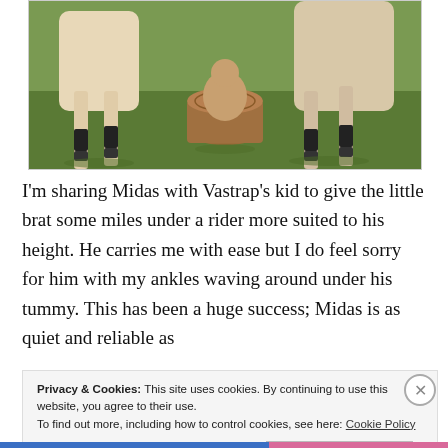[Figure (photo): A horse and a goat or similar animal interacting near a wooden tree stump on a grassy field. The horse's legs with black wraps are visible in the upper portion. The smaller animal is sitting by the stump.]
I'm sharing Midas with Vastrap's kid to give the little brat some miles under a rider more suited to his height. He carries me with ease but I do feel sorry for him with my ankles waving around under his tummy. This has been a huge success; Midas is as quiet and reliable as
Privacy & Cookies: This site uses cookies. By continuing to use this website, you agree to their use.
To find out more, including how to control cookies, see here: Cookie Policy
Close and accept